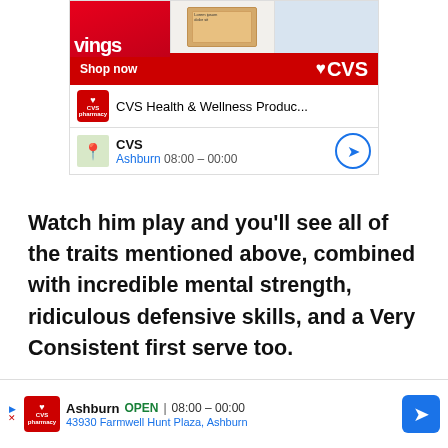[Figure (screenshot): CVS Health & Wellness Products advertisement banner with shop now button, CVS logo, product images, pharmacy name, location Ashburn, hours 08:00-00:00, and directions button]
Watch him play and you'll see all of the traits mentioned above, combined with incredible mental strength, ridiculous defensive skills, and a Very Consistent first serve too.
And if you want to dive deeper into his clay-court
[Figure (screenshot): CVS Pharmacy bottom advertisement banner showing Ashburn location, OPEN 08:00-00:00, 43930 Farmwell Hunt Plaza, Ashburn, with directions button]